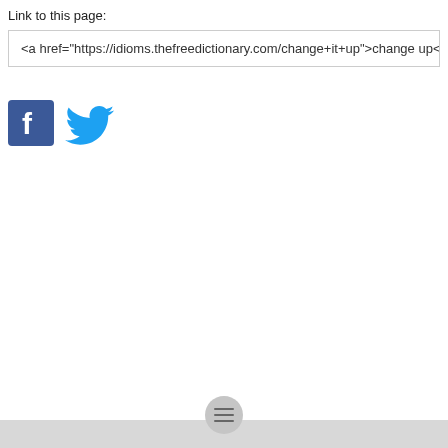Link to this page:
<a href="https://idioms.thefreedictionary.com/change+it+up">change up<
[Figure (logo): Facebook logo icon (blue square with white F)]
[Figure (logo): Twitter bird logo icon (blue bird)]